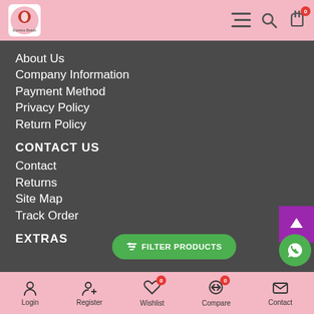Express Beads logo, menu, search, cart (0)
About Us
Company Information
Payment Method
Privacy Policy
Return Policy
CONTACT US
Contact
Returns
Site Map
Track Order
EXTRAS
Login | Register | Wishlist 0 | Compare 0 | Contact